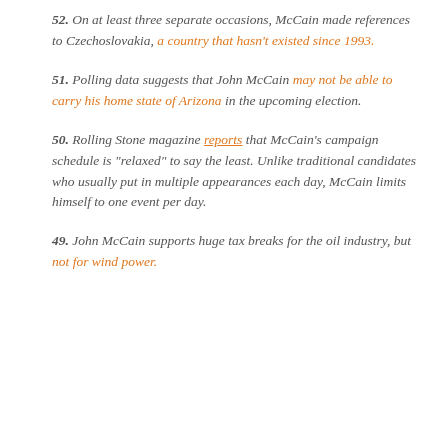52. On at least three separate occasions, McCain made references to Czechoslovakia, a country that hasn't existed since 1993.
51. Polling data suggests that John McCain may not be able to carry his home state of Arizona in the upcoming election.
50. Rolling Stone magazine reports that McCain's campaign schedule is "relaxed" to say the least. Unlike traditional candidates who usually put in multiple appearances each day, McCain limits himself to one event per day.
49. John McCain supports huge tax breaks for the oil industry, but not for wind power.